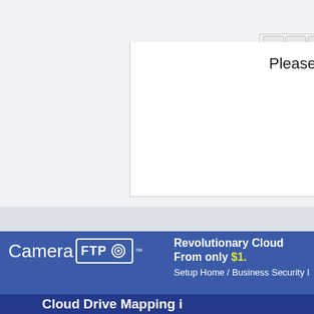[Figure (screenshot): A rich-text editor toolbar with Bold (B), Italic (I), Underline (U), text alignment buttons, font style dropdown, and color picker dropdown buttons on a light gray background.]
Please
[Figure (logo): CameraFTP logo with camera icon in a box, trademark symbol, on blue background. Text: 'Camera FTP' with camera FTP in a bordered box and a camera lens icon.]
Revolutionary Cloud... From only $1....
Setup Home / Business Security I...
Cloud Drive Mapping i...